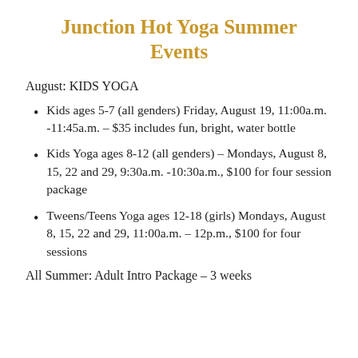Junction Hot Yoga Summer Events
August: KIDS YOGA
Kids ages 5-7 (all genders) Friday, August 19, 11:00a.m. -11:45a.m. – $35 includes fun, bright, water bottle
Kids Yoga ages 8-12 (all genders) – Mondays, August 8, 15, 22 and 29, 9:30a.m. -10:30a.m., $100 for four session package
Tweens/Teens Yoga ages 12-18 (girls) Mondays, August 8, 15, 22 and 29, 11:00a.m. – 12p.m., $100 for four sessions
All Summer: Adult Intro Package – 3 weeks